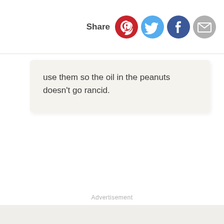Share
use them so the oil in the peanuts doesn't go rancid.
Advertisement